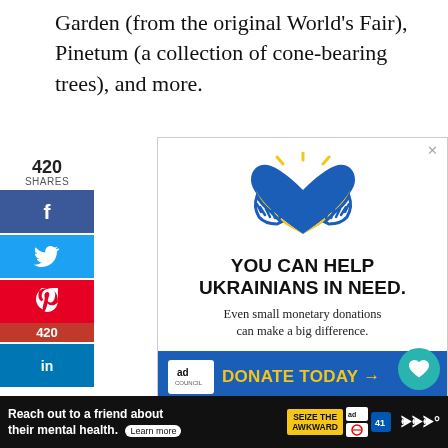Garden (from the original World's Fair), Pinetum (a collection of cone-bearing trees), and more.
[Figure (infographic): Advertisement: YOU CAN HELP UKRAINIANS IN NEED. Even small monetary donations can make a big difference. DONATE TODAY → Ad Council logo. Blue/yellow Ukraine heart logo with hands.]
This website uses cookies to improve your experience. We assume you're ok with this, but you can opt-out if you wish.
[Figure (infographic): Bottom bar advertisement: Reach out to a friend about their mental health. Learn more. Seize the Awkward badge. Ad Council and partner logos.]